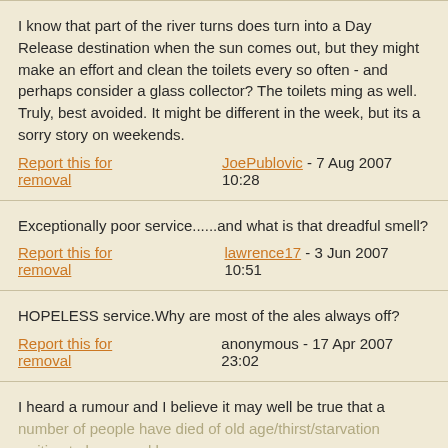I know that part of the river turns does turn into a Day Release destination when the sun comes out, but they might make an effort and clean the toilets every so often - and perhaps consider a glass collector? The toilets ming as well. Truly, best avoided. It might be different in the week, but its a sorry story on weekends.
Report this for removal    JoePublovic - 7 Aug 2007 10:28
Exceptionally poor service......and what is that dreadful smell?
Report this for removal    lawrence17 - 3 Jun 2007 10:51
HOPELESS service.Why are most of the ales always off?
Report this for removal    anonymous - 17 Apr 2007 23:02
I heard a rumour and I believe it may well be true that a number of people have died of old age/thirst/starvation waiting to be served here.